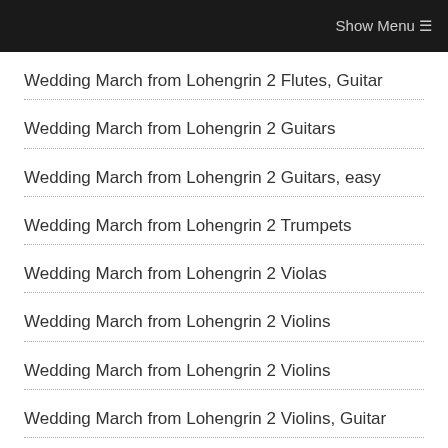Show Menu ☰
Wedding March from Lohengrin 2 Flutes, Guitar
Wedding March from Lohengrin 2 Guitars
Wedding March from Lohengrin 2 Guitars, easy
Wedding March from Lohengrin 2 Trumpets
Wedding March from Lohengrin 2 Violas
Wedding March from Lohengrin 2 Violins
Wedding March from Lohengrin 2 Violins
Wedding March from Lohengrin 2 Violins, Guitar
Wedding March from Lohengrin 2 Violins, Guitar
Wedding March from Lohengrin 3 Clarinets, Bass Clarinet